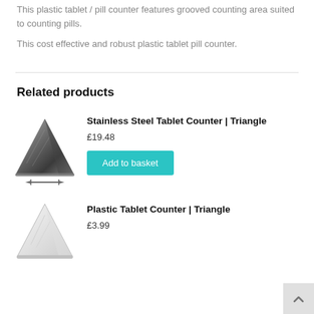This plastic tablet / pill counter features grooved counting area suited to counting pills.
This cost effective and robust plastic tablet pill counter.
Related products
[Figure (photo): Stainless steel triangle-shaped tablet counter viewed from above, showing grooved counting surface]
Stainless Steel Tablet Counter | Triangle
£19.48
Add to basket
[Figure (photo): White plastic triangle-shaped tablet counter viewed from above]
Plastic Tablet Counter | Triangle
£3.99